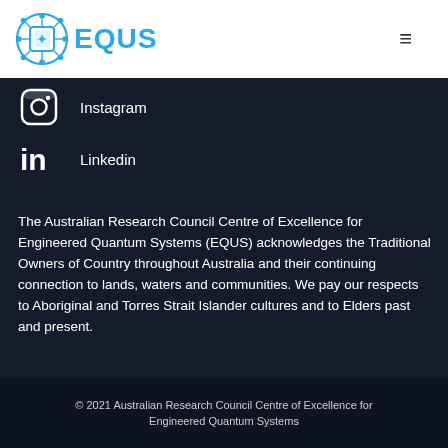[Figure (logo): EQUUS logo - blue circuit/quantum chip circular icon with EQUUS text in blue]
Instagram
Linkedin
The Australian Research Council Centre of Excellence for Engineered Quantum Systems (EQUS) acknowledges the Traditional Owners of Country throughout Australia and their continuing connection to lands, waters and communities. We pay our respects to Aboriginal and Torres Strait Islander cultures and to Elders past and present.
© 2021 Australian Research Council Centre of Excellence for Engineered Quantum Systems